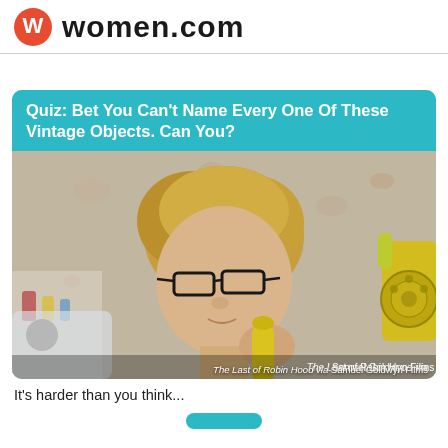women.com
Quiz: Bet You Can't Name Every One Of These Vintage Objects. Can You?
[Figure (photo): A vintage-style photo of a middle-aged woman with cat-eye glasses talking on a yellow rotary wall telephone, with floral wallpaper in the background. Caption reads: The Last of Robin Hood via Samuel Goldwyn Films]
The Last of Robin Hood via Samuel Goldwyn Films
It's harder than you think...